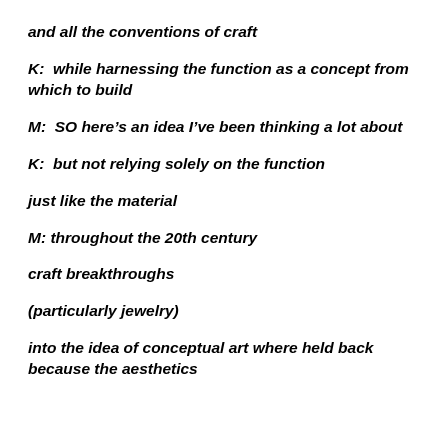and all the conventions of craft
K:  while harnessing the function as a concept from which to build
M:  SO here's an idea I've been thinking a lot about
K:  but not relying solely on the function
just like the material
M: throughout the 20th century
craft breakthroughs
(particularly jewelry)
into the idea of conceptual art where held back because the aesthetics